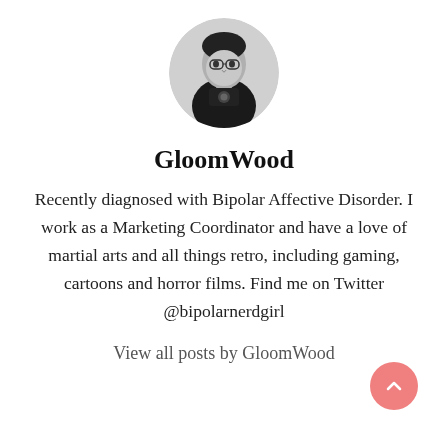[Figure (photo): Circular profile photo showing a person in black and white]
GloomWood
Recently diagnosed with Bipolar Affective Disorder. I work as a Marketing Coordinator and have a love of martial arts and all things retro, including gaming, cartoons and horror films. Find me on Twitter @bipolarnerdgirl
View all posts by GloomWood